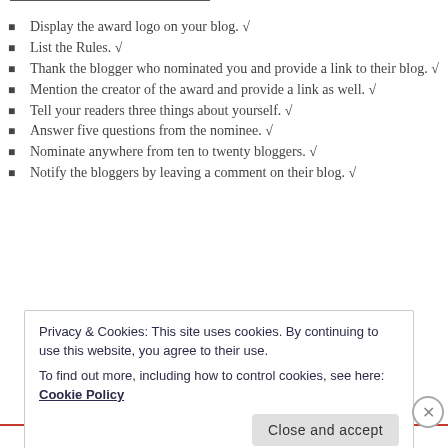Display the award logo on your blog. √
List the Rules. √
Thank the blogger who nominated you and provide a link to their blog. √
Mention the creator of the award and provide a link as well. √
Tell your readers three things about yourself. √
Answer five questions from the nominee. √
Nominate anywhere from ten to twenty bloggers. √
Notify the bloggers by leaving a comment on their blog. √
Privacy & Cookies: This site uses cookies. By continuing to use this website, you agree to their use. To find out more, including how to control cookies, see here: Cookie Policy
Advertisements